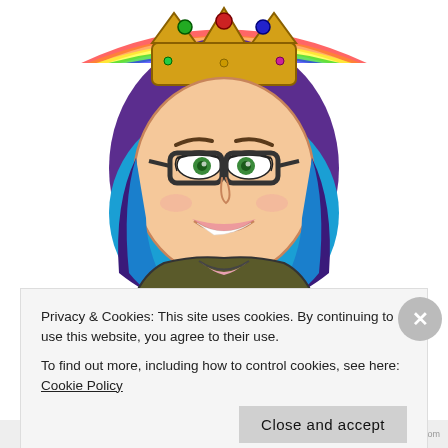[Figure (illustration): Bitmoji/cartoon avatar of a woman with purple-to-blue ombre hair, glasses, smiling, wearing a brown jacket. She has a gold crown on her head with colorful gems, and a rainbow arc in the background at the top.]
Rachell's Dreamin'
Privacy & Cookies: This site uses cookies. By continuing to use this website, you agree to their use.
To find out more, including how to control cookies, see here: Cookie Policy
Close and accept